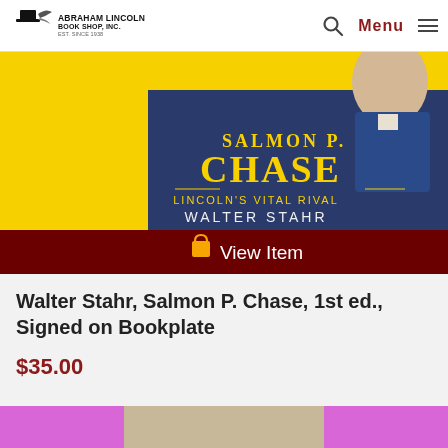Abraham Lincoln Book Shop, Inc. | Search | Menu
[Figure (photo): Book cover of 'Salmon P. Chase: Lincoln's Vital Rival' by Walter Stahr, with yellow background and portrait of a man in 19th century attire. Below the cover image is a dark red 'View Item' button with a shopping bag icon.]
Walter Stahr, Salmon P. Chase, 1st ed., Signed on Bookplate
$35.00
[Figure (photo): Partial view of a second book cover with pink/magenta background visible at the bottom of the page.]